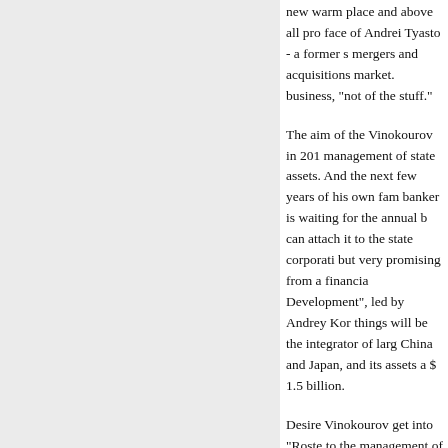new warm place and above all pro face of Andrei Tyasto - a former s mergers and acquisitions market. business, "not of the stuff."
The aim of the Vinokourov in 201 management of state assets. And the next few years of his own fam banker is waiting for the annual b can attach it to the state corporati but very promising from a financia Development", led by Andrey Kor things will be the integrator of larg China and Japan, and its assets a $ 1.5 billion.
Desire Vinokourov get into "Roste to the management of the budget "Genfa", which is engaged in distr has a joint venture with a subsidia which the government decree unt supplier against tuberculosis, HIV
Generally, super profitable pharm has been suggested that they inte Confirmation of this - the seizure c Rudensk. Recall his successors f the bankruptcy of "Nota-Bank." Fo